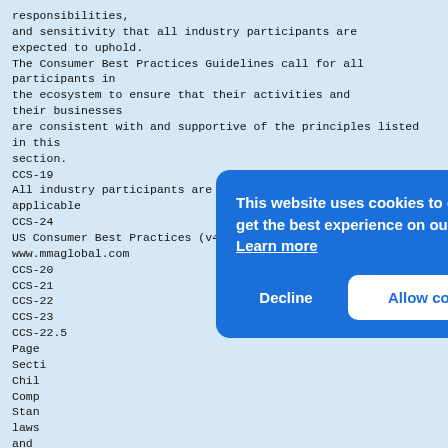responsibilities,
and sensitivity that all industry participants are
expected to uphold.
The Consumer Best Practices Guidelines call for all participants in
the ecosystem to ensure that their activities and their businesses
are consistent with and supportive of the principles listed in this
section.
CCS-19
All industry participants are expected to comply with all applicable
CCS-24
US Consumer Best Practices (v4.1.1)
www.mmaglobal.com
CCS-20
CCS-21
CCS-22
CCS-23
CCS-22.5
Page...
Section...
Children...
Compliance...
Standards...
laws...
and ...
to c...
Children...
Tele...
commercial websites,
the FTC's Children's Online Privacy Protection A...
[Figure (other): Cookie consent banner overlay (blue background) with text: 'This website uses cookies to ensure you get the best experience on our website. Learn more' and two buttons: 'Decline' and 'Allow cookies']